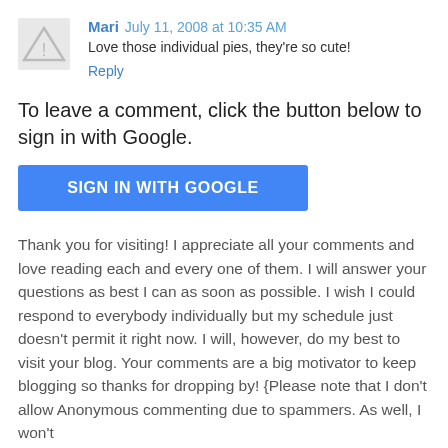Mari  July 11, 2008 at 10:35 AM
Love those individual pies, they're so cute!
Reply
To leave a comment, click the button below to sign in with Google.
[Figure (other): Blue 'SIGN IN WITH GOOGLE' button]
Thank you for visiting! I appreciate all your comments and love reading each and every one of them. I will answer your questions as best I can as soon as possible. I wish I could respond to everybody individually but my schedule just doesn't permit it right now. I will, however, do my best to visit your blog. Your comments are a big motivator to keep blogging so thanks for dropping by! {Please note that I don't allow Anonymous commenting due to spammers. As well, I won't